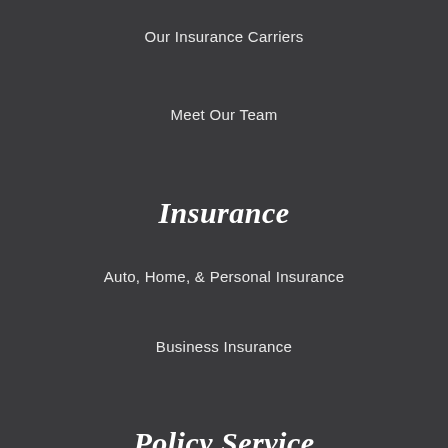Our Insurance Carriers
Meet Our Team
Insurance
Auto, Home, & Personal Insurance
Business Insurance
Policy Service
Support